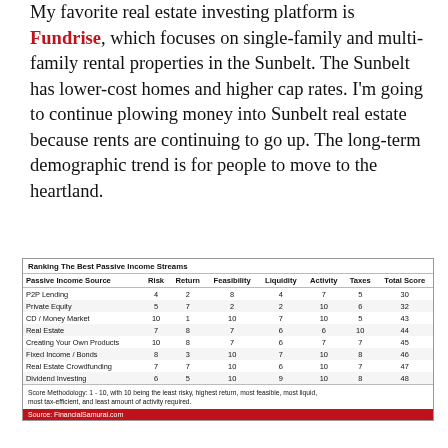My favorite real estate investing platform is Fundrise, which focuses on single-family and multi-family rental properties in the Sunbelt. The Sunbelt has lower-cost homes and higher cap rates. I'm going to continue plowing money into Sunbelt real estate because rents are continuing to go up. The long-term demographic trend is for people to move to the heartland.
| Passive Income Source | Risk | Return | Feasibility | Liquidity | Activity | Taxes | Total Score |
| --- | --- | --- | --- | --- | --- | --- | --- |
| P2P Lending | 4 | 2 | 8 | 4 | 7 | 5 | 30 |
| Private Equity | 5 | 7 | 2 | 2 | 10 | 6 | 32 |
| CD / Money Market | 10 | 1 | 10 | 7 | 10 | 5 | 43 |
| Real Estate | 7 | 8 | 7 | 6 | 6 | 10 | 44 |
| Creating Your Own Products | 10 | 8 | 7 | 6 | 7 | 7 | 45 |
| Fixed Income / Bonds | 8 | 3 | 10 | 7 | 10 | 8 | 46 |
| Real Estate Crowdfunding | 7 | 7 | 10 | 6 | 10 | 7 | 47 |
| Dividend Investing | 6 | 5 | 10 | 9 | 10 | 8 | 48 |
Score Methodology: 1 - 10, with 10 being the least risky, highest return, most feasible, most liquid, most tax-efficient, and least amount of activity required.
Source: FinancialSamurai.com